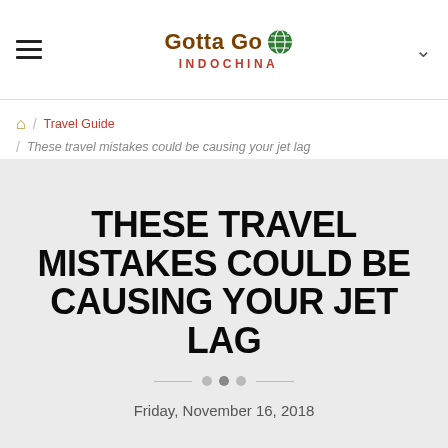Gotta Go Indochina — navigation header with hamburger menu and chevron
🏠 / Travel Guide / These travel mistakes could be causing your jet lag
THESE TRAVEL MISTAKES COULD BE CAUSING YOUR JET LAG
Friday, November 16, 2018